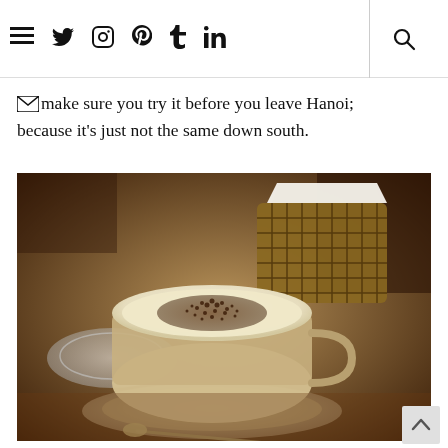≡ twitter instagram pinterest tumblr linkedin [search]
make sure you try it before you leave Hanoi; because it's just not the same down south.
[Figure (photo): A cup of egg coffee (cà phê trứng) in a glass cup on a saucer with a spoon, topped with creamy froth and cocoa powder, on a wooden table beside a glass ashtray and a wicker napkin holder.]